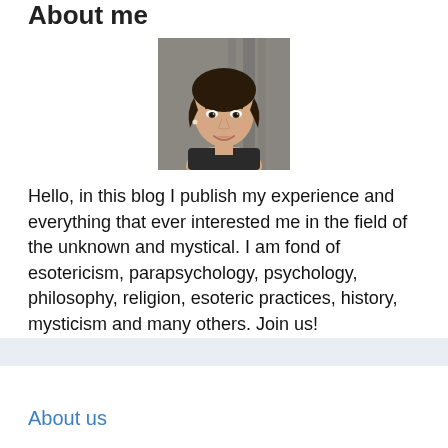About me
[Figure (photo): Portrait photo of a young woman with dark hair, smiling, against a blurred background]
Hello, in this blog I publish my experience and everything that ever interested me in the field of the unknown and mystical. I am fond of esotericism, parapsychology, psychology, philosophy, religion, esoteric practices, history, mysticism and many others. Join us!
About us